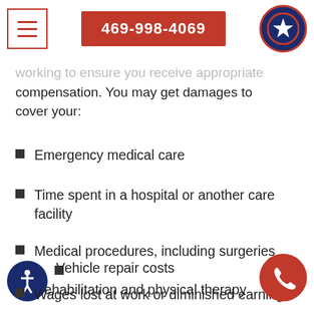469-998-4069
working to ensure you receive appropriate compensation. You may get damages to cover your:
Emergency medical care
Time spent in a hospital or another care facility
Medical procedures, including surgeries
Rehabilitation and physical therapy
Vehicle repair costs
Wages lost at work or diminished earning